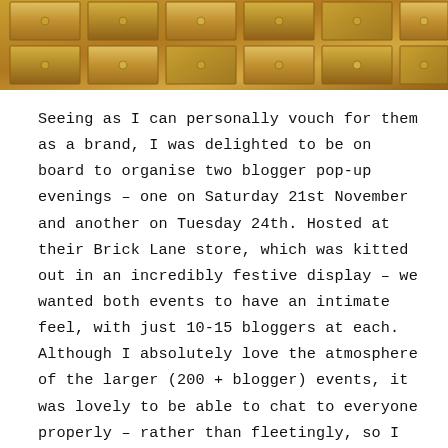[Figure (photo): Close-up photo of a wooden cabinet or drawer unit with multiple small wooden drawers, showing a warm golden-brown wood tone with circular knobs]
Seeing as I can personally vouch for them as a brand, I was delighted to be on board to organise two blogger pop-up evenings – one on Saturday 21st November and another on Tuesday 24th. Hosted at their Brick Lane store, which was kitted out in an incredibly festive display – we wanted both events to have an intimate feel, with just 10-15 bloggers at each. Although I absolutely love the atmosphere of the larger (200 + blogger) events, it was lovely to be able to chat to everyone properly – rather than fleetingly, so I think the smaller format worked very well.